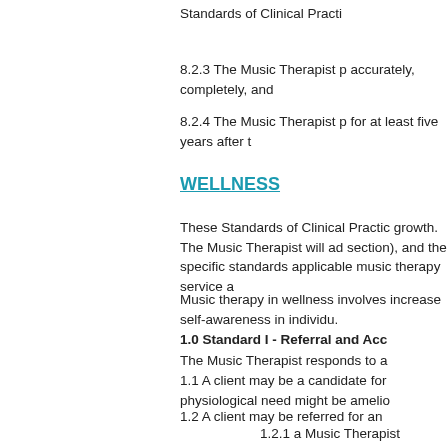Standards of Clinical Practi
8.2.3 The Music Therapist p accurately, completely, and
8.2.4 The Music Therapist p for at least five years after t
WELLNESS
These Standards of Clinical Practic growth. The Music Therapist will a section), and the specific standards applicable music therapy service a
Music therapy in wellness involves increase self-awareness in individu.
1.0 Standard I - Referral and Acc
The Music Therapist responds to a
1.1 A client may be a candidate for physiological need might be amelio
1.2 A client may be referred for an
1.2.1 a Music Therapist
1.2.2 members of other dis
1.2.3 self